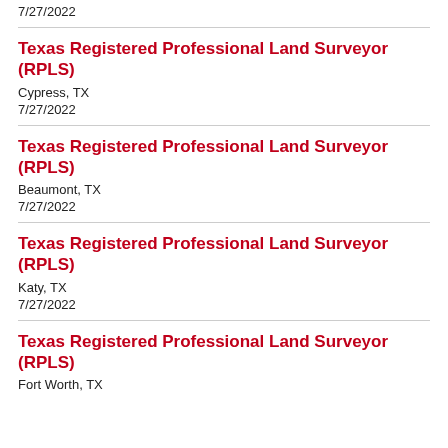7/27/2022
Texas Registered Professional Land Surveyor (RPLS)
Cypress, TX
7/27/2022
Texas Registered Professional Land Surveyor (RPLS)
Beaumont, TX
7/27/2022
Texas Registered Professional Land Surveyor (RPLS)
Katy, TX
7/27/2022
Texas Registered Professional Land Surveyor (RPLS)
Fort Worth, TX